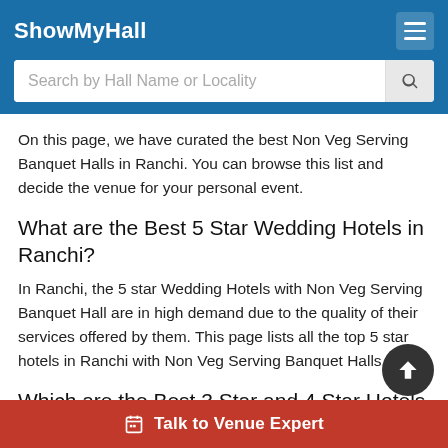ShowMyHall
On this page, we have curated the best Non Veg Serving Banquet Halls in Ranchi. You can browse this list and decide the venue for your personal event.
What are the Best 5 Star Wedding Hotels in Ranchi?
In Ranchi, the 5 star Wedding Hotels with Non Veg Serving Banquet Hall are in high demand due to the quality of their services offered by them. This page lists all the top 5 star hotels in Ranchi with Non Veg Serving Banquet Halls.
Which are the Best 3 Star and 4 Star Hotels with Non Veg Serving Banquet Halls in Ranchi?
Most 3 Star and 4 Star Hotels in Ranchi get booked early in the wedding season. Go through the best 3 Star and 4...
Talk to Venue Expert